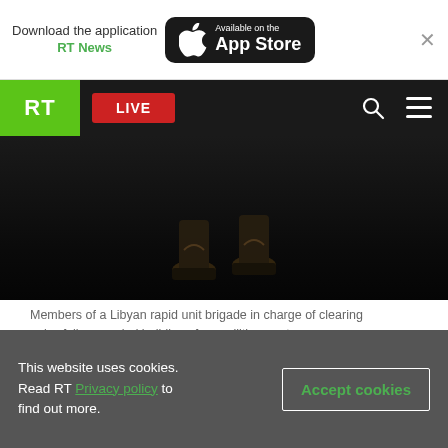Download the application RT News — Available on the App Store
[Figure (screenshot): RT news website navigation bar with green RT logo, red LIVE button, search and menu icons on dark background]
[Figure (photo): Members of a Libyan rapid unit brigade in charge of clearing unlawfully occupied buildings from militias, dark image showing feet/boots during an operation in Tripoli]
Members of a Libyan rapid unit brigade in charge of clearing unlawfully occupied buildings from militias run to secure an area during an operation in Tripoli on September 23, 2012.(AFP Photo / Gianluigi Guercia) © AFP
Libya's intelligence headquarters has been struck by a rocket propelled grenade as two rival militia groups clashed in Tripoli, says Al Arabiya TV.
This website uses cookies. Read RT Privacy policy to find out more.